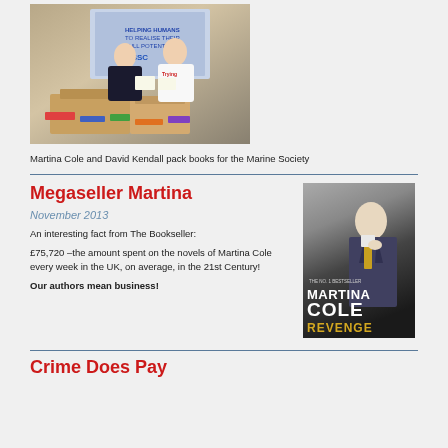[Figure (photo): Two people standing behind boxes of books in front of a banner, packing books for the Marine Society]
Martina Cole and David Kendall pack books for the Marine Society
Megaseller Martina
November 2013
An interesting fact from The Bookseller:
£75,720 –the amount spent on the novels of Martina Cole every week in the UK, on average, in the 21st Century!
Our authors mean business!
[Figure (photo): Book cover of Martina Cole's 'Revenge']
Crime Does Pay